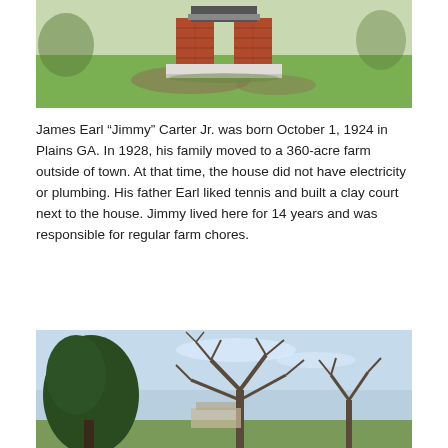[Figure (photo): Outdoor photo showing a brick monument or column structure on a green grass lawn with bare soil patches around its base.]
James Earl “Jimmy” Carter Jr. was born October 1, 1924 in Plains GA. In 1928, his family moved to a 360-acre farm outside of town. At that time, the house did not have electricity or plumbing. His father Earl liked tennis and built a clay court next to the house. Jimmy lived here for 14 years and was responsible for regular farm chores.
[Figure (photo): Outdoor photo showing tall bare winter trees against a light blue sky, with evergreen trees on the left side and a building partially visible in the background.]